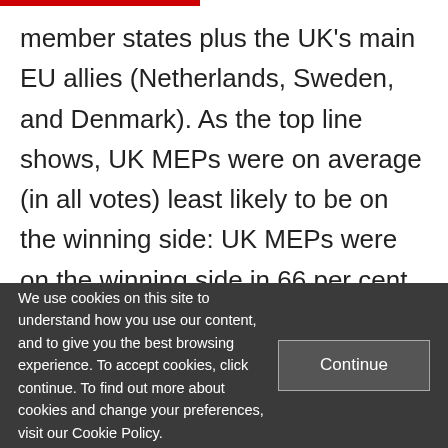member states plus the UK's main EU allies (Netherlands, Sweden, and Denmark). As the top line shows, UK MEPs were on average (in all votes) least likely to be on the winning side: UK MEPs were on the winning side in 66 per cent of votes compared to an average of 86 per cent. But, UK MEPs were more successful than some other national delegations on International Development, International Trade, Environment and Public…
We use cookies on this site to understand how you use our content, and to give you the best browsing experience. To accept cookies, click continue. To find out more about cookies and change your preferences, visit our Cookie Policy.